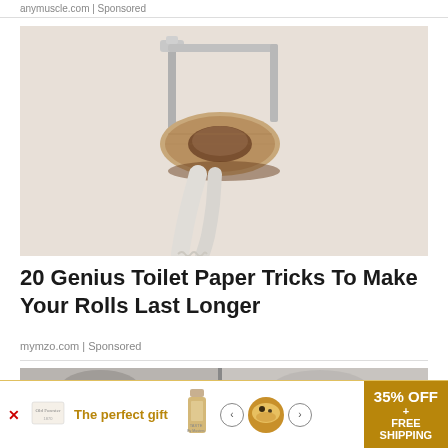anymuscle.com | Sponsored
[Figure (photo): An empty toilet paper roll on a chrome toilet paper holder mounted on a white wall, with a few loose sheets of paper hanging down.]
20 Genius Toilet Paper Tricks To Make Your Rolls Last Longer
mymzo.com | Sponsored
[Figure (photo): Partial view of another article image at the bottom of the page, partially obscured by an advertisement banner.]
[Figure (screenshot): Advertisement banner at the bottom: 'The perfect gift' from Old Forester with product images, navigation arrows, and '35% OFF + FREE SHIPPING' offer in gold/brown.]